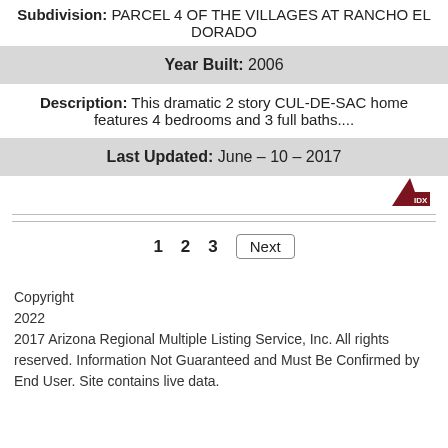Subdivision: PARCEL 4 OF THE VILLAGES AT RANCHO EL DORADO
Year Built: 2006
Description: This dramatic 2 story CUL-DE-SAC home features 4 bedrooms and 3 full baths....
Last Updated: June – 10 – 2017
[Figure (logo): ARMLS/ADX logo — dark red triangle with 'IDX' text]
1  2  3  Next
Copyright
2022
2017 Arizona Regional Multiple Listing Service, Inc. All rights reserved. Information Not Guaranteed and Must Be Confirmed by End User. Site contains live data.